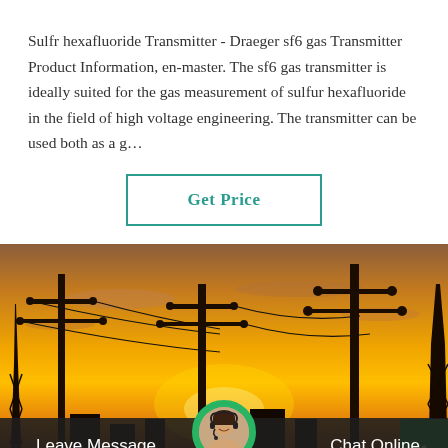Sulfr hexafluoride Transmitter - Draeger sf6 gas Transmitter Product Information, en-master. The sf6 gas transmitter is ideally suited for the gas measurement of sulfur hexafluoride in the field of high voltage engineering. The transmitter can be used both as a g…
[Figure (other): Button with teal border and teal text reading 'Get Price']
[Figure (photo): Photo of electrical power substation silhouetted against a dramatic orange and golden sunset sky, showing high-voltage transmission towers, insulators, and power lines.]
Leave Message   Chat Online